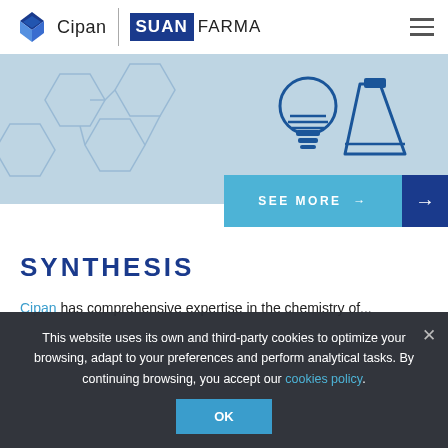Cipan | SUANFARMA
[Figure (illustration): Light blue banner with molecular/hexagonal pattern on left and dark blue lightbulb and flask icons on right]
SEE MORE →
SYNTHESIS
Cipan has comprehensive expertise in the chemistry of...
This website uses its own and third-party cookies to optimize your browsing, adapt to your preferences and perform analytical tasks. By continuing browsing, you accept our cookies policy. OK